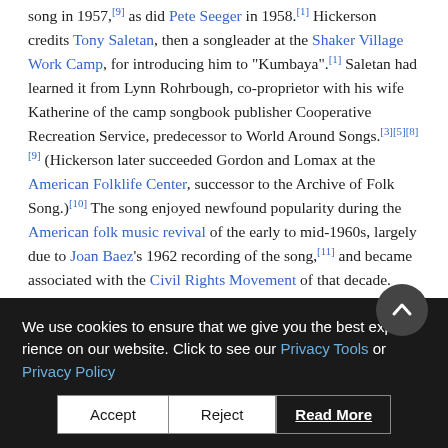song in 1957,[9] as did Pete Seeger in 1958.[1] Hickerson credits Tony Saletan, then a songleader at the Shaker Village Work Camp, for introducing him to "Kumbaya".[1] Saletan had learned it from Lynn Rohrbough, co-proprietor with his wife Katherine of the camp songbook publisher Cooperative Recreation Service, predecessor to World Around Songs.[3][5][8][9] (Hickerson later succeeded Gordon and Lomax at the American Folklife Center, successor to the Archive of Folk Song.)[10] The song enjoyed newfound popularity during the American folk music revival of the early to mid-1960s, largely due to Joan Baez's 1962 recording of the song,[11] and became associated with the Civil Rights Movement of that decade.
We use cookies to ensure that we give you the best experience on our website. Click to see our Privacy Tools or Privacy Policy
Accept | Reject | Read More